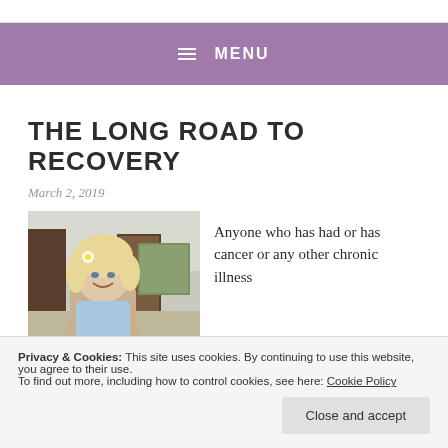≡  MENU
THE LONG ROAD TO RECOVERY
March 2, 2019
[Figure (photo): A smiling blonde woman with a flower in her hair, standing indoors near a doorway with artwork on the wall]
Anyone who has had or has cancer or any other chronic illness
Privacy & Cookies: This site uses cookies. By continuing to use this website, you agree to their use.
To find out more, including how to control cookies, see here: Cookie Policy
[Figure (photo): Partially visible image at the bottom of the page]
to recovery